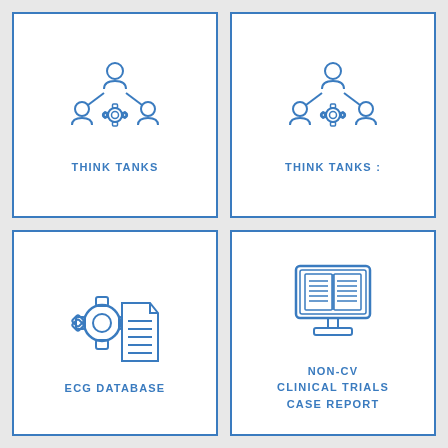[Figure (illustration): Icon of three people with a gear/cog in the center, representing a team or think tank. Top person connected by lines to two lower people, gear in center.]
THINK TANKS
[Figure (illustration): Icon of three people with a gear/cog in the center, representing a team or think tank. Top person connected by lines to two lower people, gear in center.]
THINK TANKS :
[Figure (illustration): Icon of a gear overlapping with a document/file page with horizontal lines, representing an ECG database.]
ECG DATABASE
[Figure (illustration): Icon of a computer monitor displaying an open book with text lines, representing non-CV clinical trials case report.]
NON-CV
CLINICAL TRIALS
CASE REPORT